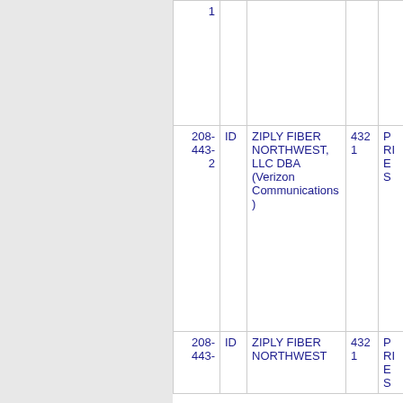| Number | State | Company Name | Code | Location |
| --- | --- | --- | --- | --- |
| 1 |  |  |  |  |
| 208-443-2 | ID | ZIPLY FIBER NORTHWEST, LLC DBA (Verizon Communications) | 4321 | PRIES |
| 208-443- | ID | ZIPLY FIBER NORTHWEST | 4321 | PRIES |